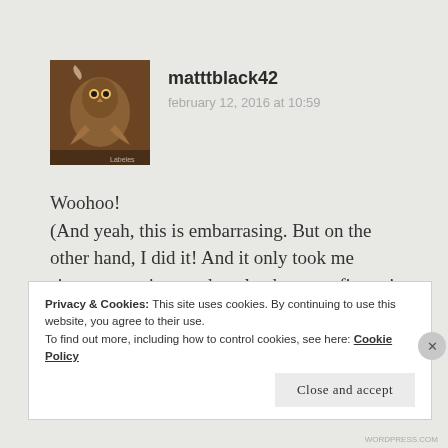[Figure (photo): Small square avatar image of a bird (owl or similar) being held, with warm brown tones and a watermark label at bottom right]
matttblack42
february 12, 2016 at 10:59
Woohoo!
(And yeah, this is embarrasing. But on the other hand, I did it! And it only took me sixteen questions and twelve hours to figure it all out.)
Privacy & Cookies: This site uses cookies. By continuing to use this website, you agree to their use.
To find out more, including how to control cookies, see here: Cookie Policy
Close and accept